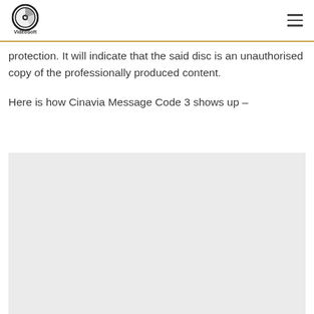VideoSoft
protection. It will indicate that the said disc is an unauthorised copy of the professionally produced content.
Here is how Cinavia Message Code 3 shows up –
[Figure (photo): Light grey placeholder image area below the text about Cinavia Message Code 3]